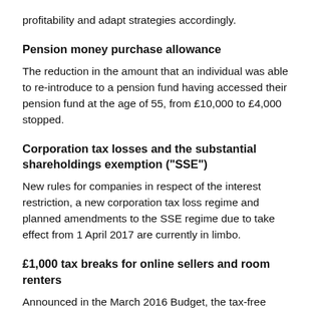profitability and adapt strategies accordingly.
Pension money purchase allowance
The reduction in the amount that an individual was able to re-introduce to a pension fund having accessed their pension fund at the age of 55, from £10,000 to £4,000 stopped.
Corporation tax losses and the substantial shareholdings exemption ("SSE")
New rules for companies in respect of the interest restriction, a new corporation tax loss regime and planned amendments to the SSE regime due to take effect from 1 April 2017 are currently in limbo.
£1,000 tax breaks for online sellers and room renters
Announced in the March 2016 Budget, the tax-free allowances of £1,000 a year were supposed to apply to